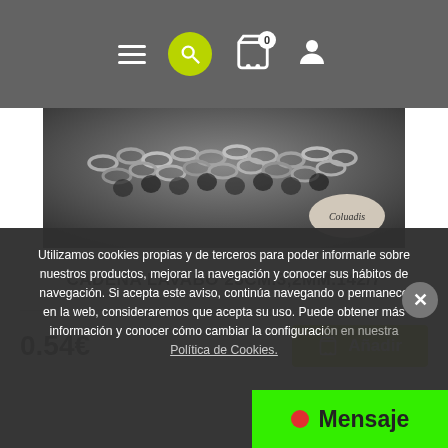Navigation bar with hamburger menu, search, cart (0), user icon
[Figure (photo): Close-up photo of a metal chain product (Cadena Lavabo) with Coluadis brand badge in bottom right corner]
CADENA LAVABO 25CM.3,2MM.142/7
0.54€
Añadir
Utilizamos cookies propias y de terceros para poder informarle sobre nuestros productos, mejorar la navegación y conocer sus hábitos de navegación. Si acepta este aviso, continúa navegando o permanece en la web, consideraremos que acepta su uso. Puede obtener más información y conocer cómo cambiar la configuración en nuestra Política de Cookies.
Mensaje